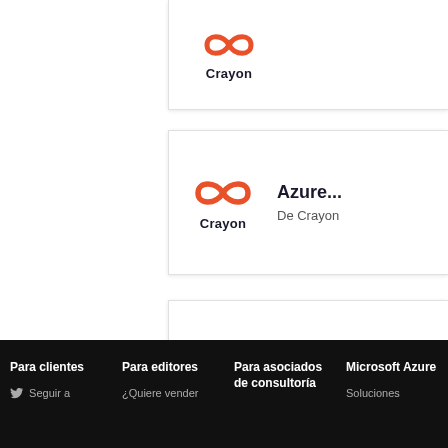[Figure (logo): Crayon logo card (top, partially visible) with orange infinity-loop icon and 'Crayon' text]
[Figure (logo): Crayon logo card for 'Azure...' product, with orange infinity-loop icon, 'Crayon' text below, title 'Azure...' and subtitle 'De Crayon']
[Figure (logo): Crayon logo card for 'Cloud...' product, with orange infinity-loop icon, 'Crayon' text below, title 'Cloud...' and subtitle 'De Crayon']
Para clientes | Para editores | Para asociados de consultoría | Microsoft Azure | Soluciones | Seguir a | ¿Quiere vender